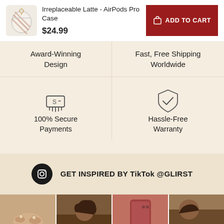[Figure (photo): Product image of Irreplaceable Latte AirPods Pro Case with decorative design]
Irreplaceable Latte - AirPods Pro Case
$24.99
ADD TO CART
Award-Winning Design
Fast, Free Shipping Worldwide
[Figure (illustration): Icon of hand inserting card into payment terminal - 100% Secure Payments]
100% Secure Payments
[Figure (illustration): Shield with checkmark icon - Hassle-Free Warranty]
Hassle-Free Warranty
GET INSPIRED BY TikTok @GLIRST
[Figure (photo): Four lifestyle photos of people wearing/using products]